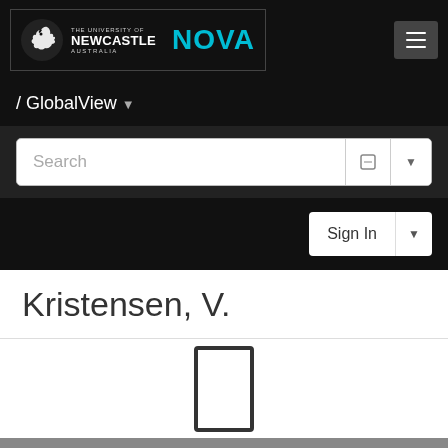THE UNIVERSITY OF NEWCASTLE AUSTRALIA NOVA
/ GlobalView
Search
Sign In
Kristensen, V.
[Figure (other): Loading spinner or placeholder rectangle icon in outline style]